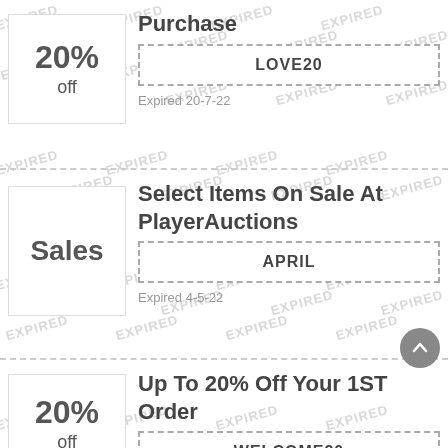20% off
Purchase
LOVE20
Expired 20-7-22
Sales
Select Items On Sale At PlayerAuctions
APRIL
Expired 4-5-22
20% off
Up To 20% Off Your 1ST Order
WELCOME20